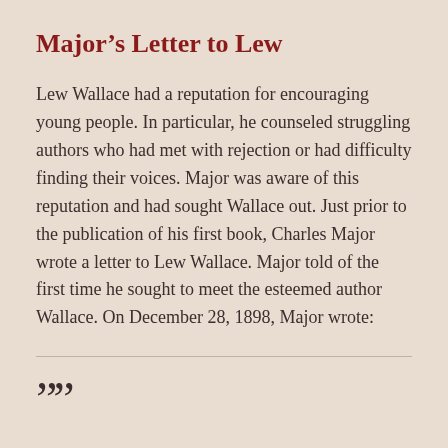Major’s Letter to Lew
Lew Wallace had a reputation for encouraging young people. In particular, he counseled struggling authors who had met with rejection or had difficulty finding their voices. Major was aware of this reputation and had sought Wallace out. Just prior to the publication of his first book, Charles Major wrote a letter to Lew Wallace. Major told of the first time he sought to meet the esteemed author Wallace. On December 28, 1898, Major wrote:
””